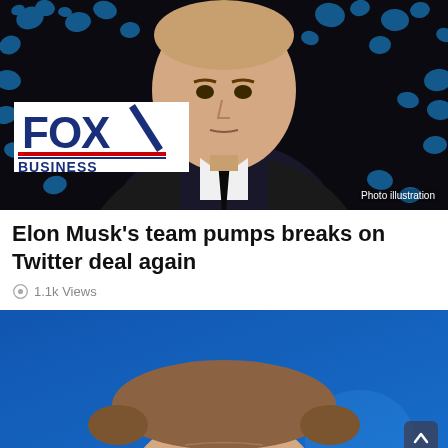[Figure (photo): Fox Business photo illustration showing Elon Musk in a dark suit and tie against a background of Twitter bird logos]
Photo illustration
Elon Musk's team pumps breaks on Twitter deal again
1.1k Views
[Figure (photo): Close-up photo of Elon Musk against a blue background with Twitter bird logo]